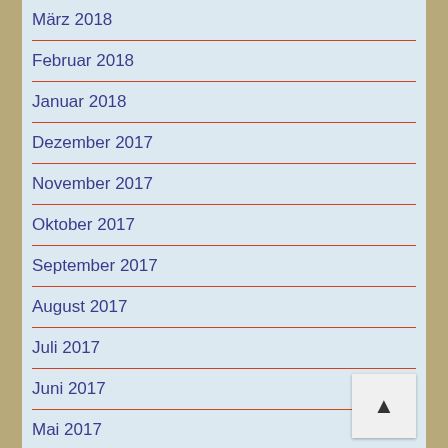März 2018
Februar 2018
Januar 2018
Dezember 2017
November 2017
Oktober 2017
September 2017
August 2017
Juli 2017
Juni 2017
Mai 2017
April 2017